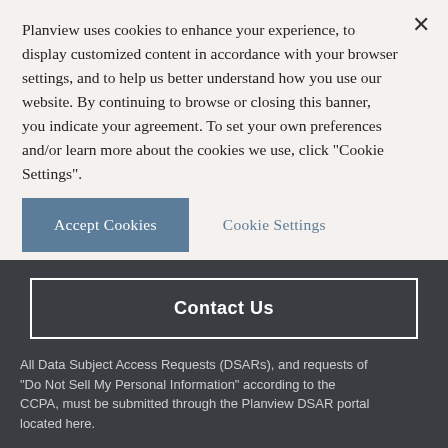Planview uses cookies to enhance your experience, to display customized content in accordance with your browser settings, and to help us better understand how you use our website. By continuing to browse or closing this banner, you indicate your agreement. To set your own preferences and/or learn more about the cookies we use, click "Cookie Settings".
Accept Cookies
Cookie Settings
Contact Us
All Data Subject Access Requests (DSARs), and requests of “Do Not Sell My Personal Information” according to the CCPA, must be submitted through the Planview DSAR portal located here.
Planview has appointed a Data Privacy Officer (DPO) for